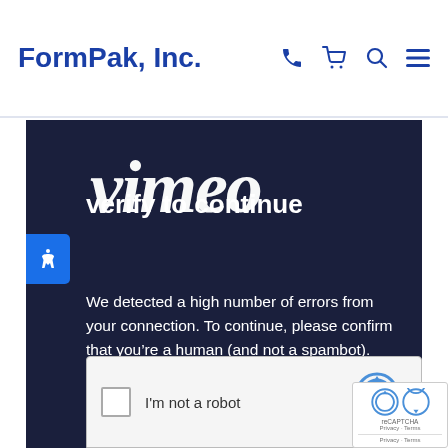FormPak, Inc.
[Figure (screenshot): Website screenshot showing FormPak, Inc. header with navigation icons (phone, cart, search, menu) in blue on white background, followed by a dark navy Vimeo CAPTCHA verification overlay with text 'verify to continue' and error message, and a reCAPTCHA 'I'm not a robot' checkbox at the bottom]
We detected a high number of errors from your connection. To continue, please confirm that you’re a human (and not a spambot).
I'm not a robot
reCAPTCHA Privacy · Terms